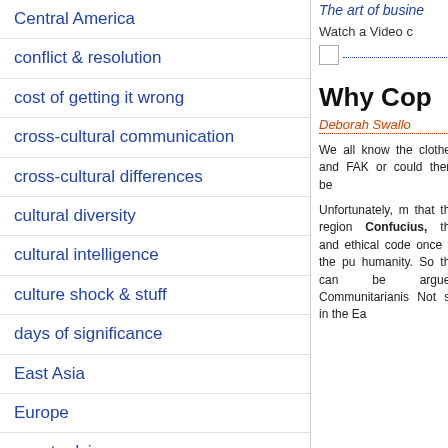Central America
conflict & resolution
cost of getting it wrong
cross-cultural communication
cross-cultural differences
cultural diversity
cultural intelligence
culture shock & stuff
days of significance
East Asia
Europe
expat advice
General
global teams
international business
The art of busine
Watch a Video c
[Figure (photo): Small image placeholder with dotted blue underline]
Why Cop
Deborah Swallo
We all know the clothes and FAK or could there be
Unfortunately, m that the region Confucius, the and ethical code once in the pu humanity. So the can be argued Communitarianis Not so in the Ea